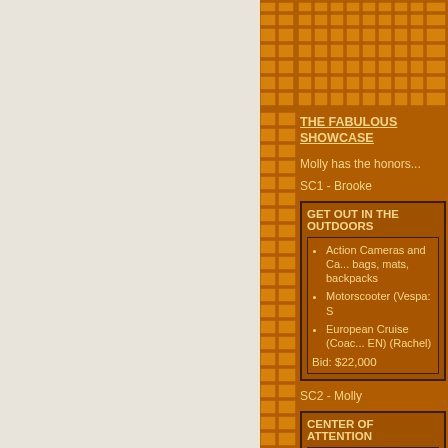[Figure (illustration): Mosaic tile decorative pattern at top of right panel in orange/brown tones]
THE FABULOUS SHOWCASE
Molly has the honors...
SC1 - Brooke
GET OUT IN THE OUTDOORS
Action Cameras and Ca... bags, mats, backpacks
Motorscooter (Vespa: S
European Cruise (Coac... EN) (Rachel)
Bid: $22,000
SC2 - Molly
CENTER OF ATTENTION
Designer Handbags (C...
$4,000 in cash (Rachel...
2018 Ford Fiesta SE (...